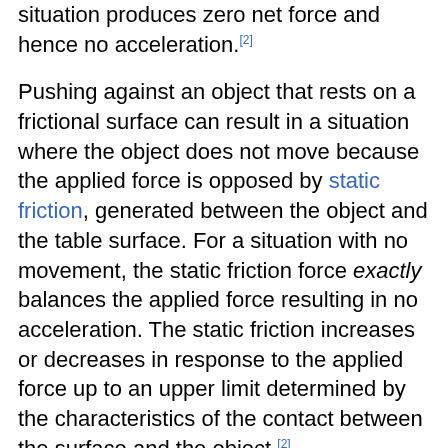situation produces zero net force and hence no acceleration.[2]
Pushing against an object that rests on a frictional surface can result in a situation where the object does not move because the applied force is opposed by static friction, generated between the object and the table surface. For a situation with no movement, the static friction force exactly balances the applied force resulting in no acceleration. The static friction increases or decreases in response to the applied force up to an upper limit determined by the characteristics of the contact between the surface and the object.[2]
A static equilibrium between two forces is the most usual way of measuring forces, using simple devices such as weighing scales and spring